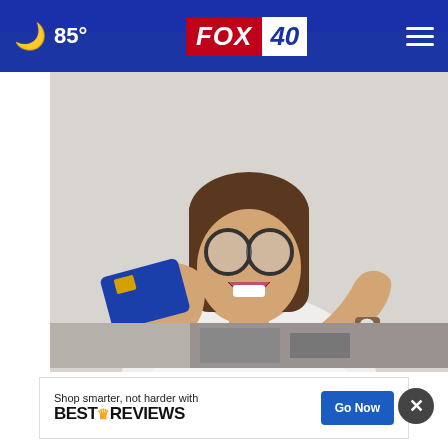🌙 85° | FOX 40
[Figure (photo): Woman with glasses smiling and pointing at a blue credit card she is holding up]
Hands Down the Top Credit Card of 2022
CompareCredit
[Figure (photo): Partial image of people in business setting at bottom of page]
[Figure (infographic): BestReviews advertisement banner: 'Shop smarter, not harder with BESTREVIEWS' with a 'Go Now' button]